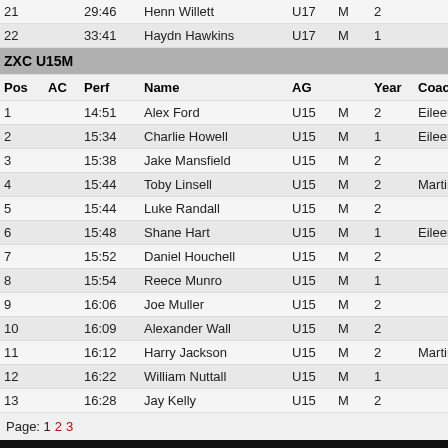| Pos | AC | Perf | Name | AG |  | Year | Coach |
| --- | --- | --- | --- | --- | --- | --- | --- |
| 21 |  | 29:46 | Henn Willett | U17 | M | 2 |  |
| 22 |  | 33:41 | Haydn Hawkins | U17 | M | 1 |  |
| ZXC U15M |  |  |  |  |  |  |  |
| Pos | AC | Perf | Name | AG |  | Year | Coach |
| 1 |  | 14:51 | Alex Ford | U15 | M | 2 | Eileen M |
| 2 |  | 15:34 | Charlie Howell | U15 | M | 1 | Eileen M |
| 3 |  | 15:38 | Jake Mansfield | U15 | M | 2 |  |
| 4 |  | 15:44 | Toby Linsell | U15 | M | 2 | Martin B |
| 5 |  | 15:44 | Luke Randall | U15 | M | 2 |  |
| 6 |  | 15:48 | Shane Hart | U15 | M | 1 | Eileen M |
| 7 |  | 15:52 | Daniel Houchell | U15 | M | 2 |  |
| 8 |  | 15:54 | Reece Munro | U15 | M | 1 |  |
| 9 |  | 16:06 | Joe Muller | U15 | M | 2 |  |
| 10 |  | 16:09 | Alexander Wall | U15 | M | 2 |  |
| 11 |  | 16:12 | Harry Jackson | U15 | M | 2 | Martin B |
| 12 |  | 16:22 | William Nuttall | U15 | M | 1 |  |
| 13 |  | 16:28 | Jay Kelly | U15 | M | 2 |  |
Page: 1 2 3
UK Athletics | England Athletics | Scottish Athletics | Athl